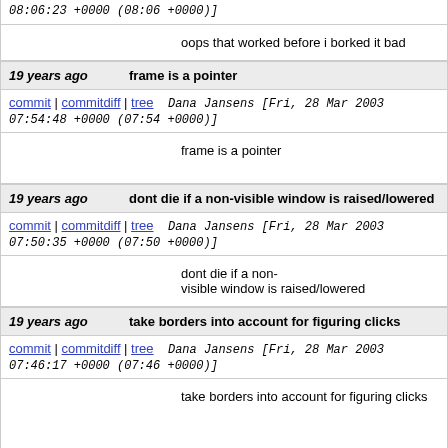08:06:23 +0000 (08:06 +0000)]
oops that worked before i borked it bad
19 years ago   frame is a pointer
commit | commitdiff | tree   Dana Jansens [Fri, 28 Mar 2003 07:54:48 +0000 (07:54 +0000)]
frame is a pointer
19 years ago   dont die if a non-visible window is raised/lowered
commit | commitdiff | tree   Dana Jansens [Fri, 28 Mar 2003 07:50:35 +0000 (07:50 +0000)]
dont die if a non-visible window is raised/lowered
19 years ago   take borders into account for figuring clicks
commit | commitdiff | tree   Dana Jansens [Fri, 28 Mar 2003 07:46:17 +0000 (07:46 +0000)]
take borders into account for figuring clicks